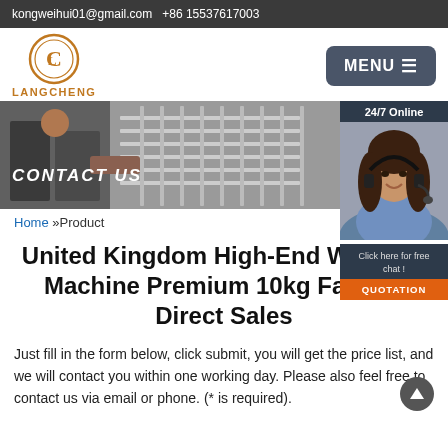kongweihui01@gmail.com  +86 15537617003
[Figure (logo): Langcheng logo — circular gold letter C with inner L, text LANGCHENG below in orange/gold]
[Figure (photo): Hero banner showing a person loading a dishwasher/washing machine, with text CONTACT US overlaid in italic white]
[Figure (photo): 24/7 Online panel with agent photo (woman with headset), 'Click here for free chat!' text, and QUOTATION button]
Home »Product
United Kingdom High-End Washing Machine Premium 10kg Factory Direct Sales
Just fill in the form below, click submit, you will get the price list, and we will contact you within one working day. Please also feel free to contact us via email or phone. (* is required).